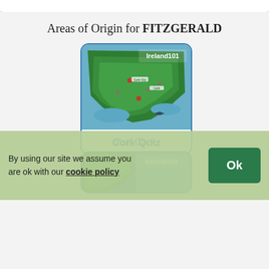Areas of Origin for FITZGERALD
[Figure (map): Illustrated map of Cork, Ireland from Ireland101, showing green landmass with location markers and water bodies]
Cork Quiz
Visit Cork
[Figure (map): Partial view of a second Ireland101 illustrated map at the bottom of the page]
By using our site we assume you are ok with our cookie policy